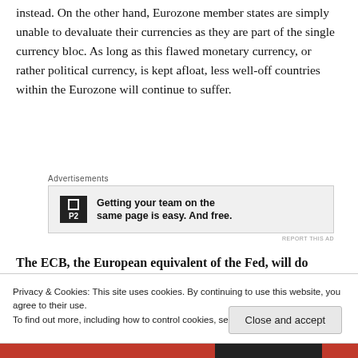instead. On the other hand, Eurozone member states are simply unable to devaluate their currencies as they are part of the single currency bloc. As long as this flawed monetary currency, or rather political currency, is kept afloat, less well-off countries within the Eurozone will continue to suffer.
[Figure (other): Advertisement banner for P2 with text: Getting your team on the same page is easy. And free.]
The ECB, the European equivalent of the Fed, will do
Privacy & Cookies: This site uses cookies. By continuing to use this website, you agree to their use.
To find out more, including how to control cookies, see here: Cookie Policy
Close and accept